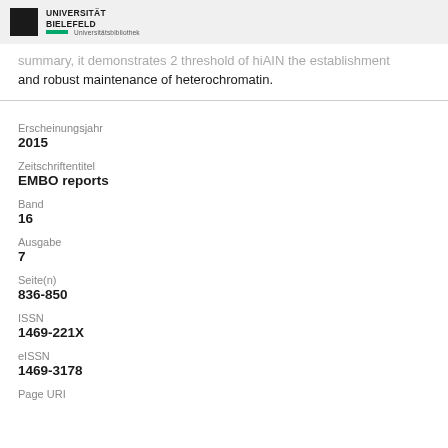UNIVERSITÄT BIELEFELD Universitätsbibliothek
summary, it demonstrates 2 threshold of hiAIN the establishment and robust maintenance of heterochromatin.
Erscheinungsjahr
2015
Zeitschriftentitel
EMBO reports
Band
16
Ausgabe
7
Seite(n)
836-850
ISSN
1469-221X
eISSN
1469-3178
Page URI